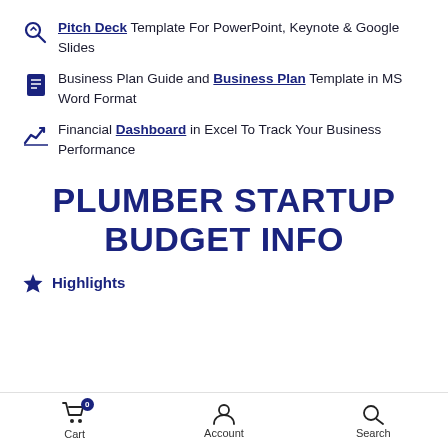Pitch Deck Template For PowerPoint, Keynote & Google Slides
Business Plan Guide and Business Plan Template in MS Word Format
Financial Dashboard in Excel To Track Your Business Performance
PLUMBER STARTUP BUDGET INFO
Highlights
Cart 0  Account  Search